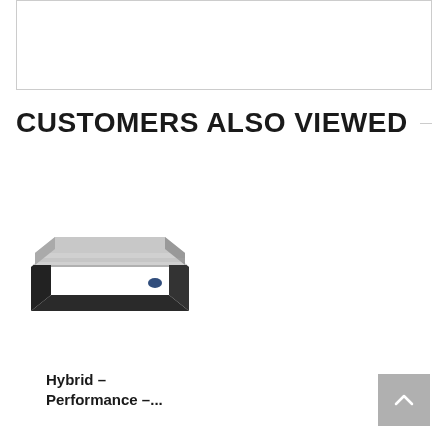[Figure (other): White rectangular box with light gray border at top of page]
CUSTOMERS ALSO VIEWED
[Figure (photo): Sealy hybrid mattress product photo showing a gray and black mattress viewed from an angle]
Hybrid – Performance –...